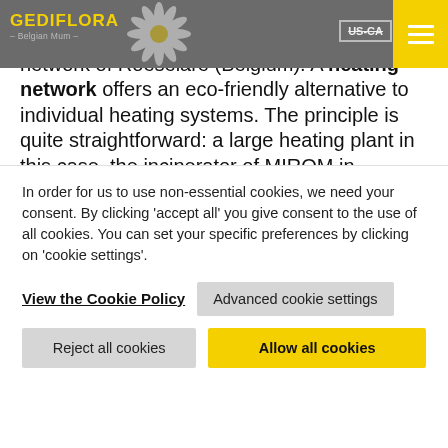GEDIFLORA – Belgian Mum – US-CA
Connection to the MIROM local heating network. Gediflora is connected to the local heating network of Roeselare (Belgium). A heating network offers an eco-friendly alternative to individual heating systems. The principle is quite straightforward: a large heating plant in this case, the incinerator of MIROM in Roeselare, distributes heat via an underground hot water pipeline system to companies and housing units where it is fed into the heating system of the buildings. The water, that is subsequently cooled down, then flows back to the heating plant, where it is reheated
In order for us to use non-essential cookies, we need your consent. By clicking 'accept all' you give consent to the use of all cookies. You can set your specific preferences by clicking on 'cookie settings'.
View the Cookie Policy
Advanced cookie settings
Reject all cookies
Allow all cookies